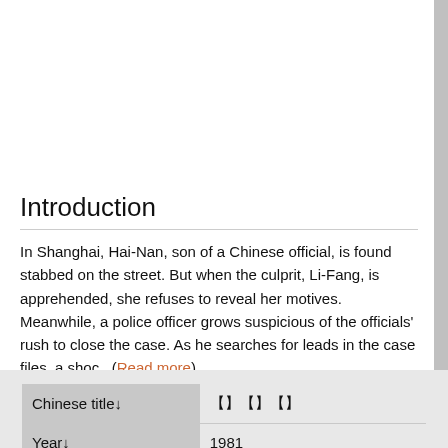Introduction
In Shanghai, Hai-Nan, son of a Chinese official, is found stabbed on the street. But when the culprit, Li-Fang, is apprehended, she refuses to reveal her motives. Meanwhile, a police officer grows suspicious of the officials' rush to close the case. As he searches for leads in the case files, a shoc...(Read more)
| Field | Value |
| --- | --- |
| Chinese title↓ | 【】【】【】 |
| Year↓ | 1981 |
| Director↓ | WANG Chu-Chin |